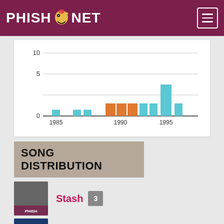PHISH.NET
[Figure (bar-chart): Chart showing performances by year]
SONG DISTRIBUTION
Stash 3
Rift 3
Billy Breathes 2